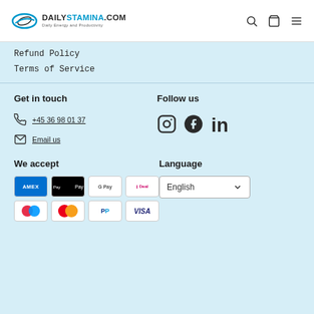DailyStamina.com — Daily Energy and Productivity
Refund Policy
Terms of Service
Get in touch
+45 36 98 01 37
Email us
Follow us
[Figure (logo): Instagram, Facebook, LinkedIn social media icons]
We accept
[Figure (infographic): Payment method badges: Amex, Apple Pay, Google Pay, iDeal, two multicolor logos, PayPal, Visa]
Language
English